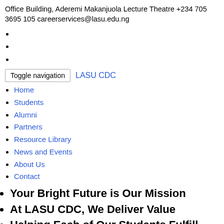Office Building, Aderemi Makanjuola Lecture Theatre +234 705 3695 105 careerservices@lasu.edu.ng
Toggle navigation  LASU CDC
Home
Students
Alumni
Partners
Resource Library
News and Events
About Us
Contact
Your Bright Future is Our Mission
At LASU CDC, We Deliver Value
Helping Each of Our Students Fulfill